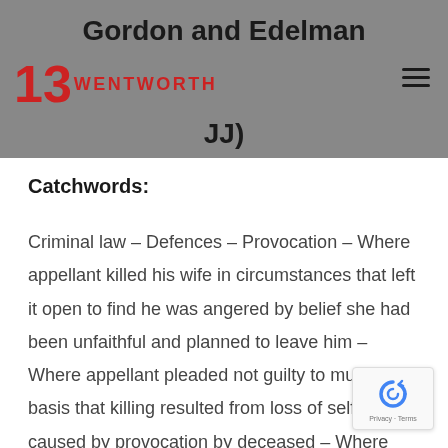Gordon and Edelman JJ)
Catchwords:
Criminal law – Defences – Provocation – Where appellant killed his wife in circumstances that left it open to find he was angered by belief she had been unfaithful and planned to leave him – Where appellant pleaded not guilty to murder on basis that killing resulted from loss of self-control caused by provocation by deceased – Where appellant contended at trial that state of loss of self-control excited by deceased's conduct in grabbing knife